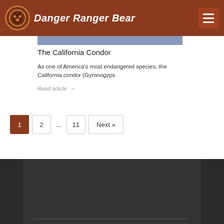Danger Ranger Bear
The California Condor
As one of America's most endangered species, the California condor (Gymnogyps
Read article →
1
2
...
11
Next »